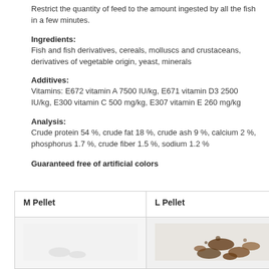Restrict the quantity of feed to the amount ingested by all the fish in a few minutes.
Ingredients:
Fish and fish derivatives, cereals, molluscs and crustaceans, derivatives of vegetable origin, yeast, minerals
Additives:
Vitamins: E672 vitamin A 7500 IU/kg, E671 vitamin D3 2500 IU/kg, E300 vitamin C 500 mg/kg, E307 vitamin E 260 mg/kg
Analysis:
Crude protein 54 %, crude fat 18 %, crude ash 9 %, calcium 2 %, phosphorus 1.7 %, crude fiber 1.5 %, sodium 1.2 %
Guaranteed free of artificial colors
| M Pellet | L Pellet |
| --- | --- |
| [image] | [image] |